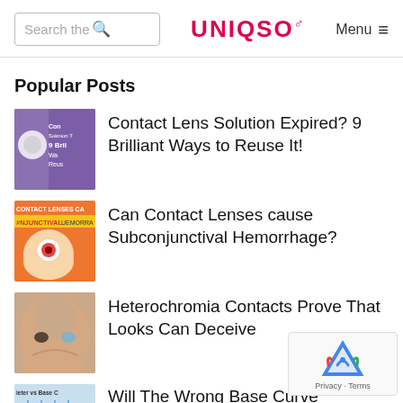UNIQSO — Search the site / Menu
Popular Posts
Contact Lens Solution Expired? 9 Brilliant Ways to Reuse It!
Can Contact Lenses cause Subconjunctival Hemorrhage?
Heterochromia Contacts Prove That Looks Can Deceive
Will The Wrong Base Curve Contact Lenses Cause…